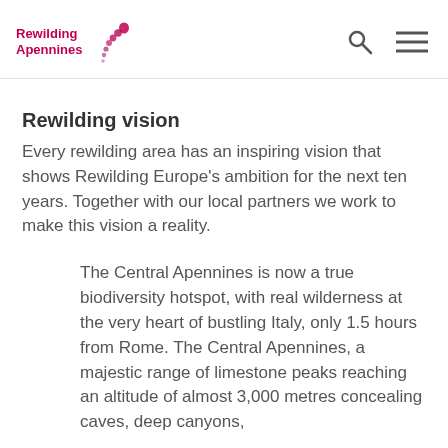Rewilding Apennines
Rewilding vision
Every rewilding area has an inspiring vision that shows Rewilding Europe's ambition for the next ten years. Together with our local partners we work to make this vision a reality.
The Central Apennines is now a true biodiversity hotspot, with real wilderness at the very heart of bustling Italy, only 1.5 hours from Rome. The Central Apennines, a majestic range of limestone peaks reaching an altitude of almost 3,000 metres concealing caves, deep canyons,